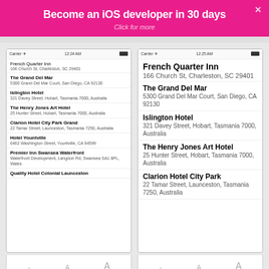Become an iOS developer in 30 days
Click for more
[Figure (screenshot): Left phone screenshot showing a small list of hotels: French Quarter Inn (166 Church St, Charleston, SC 29401), The Grand Del Mar (5300 Grand Del Mar Court, San Diego, CA 92130), Islington Hotel (321 Davey Street, Hobart, Tasmania 7000, Australia), The Henry Jones Art Hotel (25 Hunter Street, Hobart, Tasmania 7000, Australia), Clarion Hotel City Park Grand (22 Tamar Street, Launceston, Tasmania 7250, Australia), Hotel Yountville (6462 Washington Street, Yountville, CA 94599), Premier Inn Swansea Waterfront (Waterfront Development, Langdon Rd, Swansea SA1 8PL, Wales), Quality Hotel Colonial Launceston]
[Figure (screenshot): Right phone screenshot showing a large detail view of hotels: French Quarter Inn (166 Church St, Charleston, SC 29401), The Grand Del Mar (5300 Grand Del Mar Court, San Diego, CA 92130), Islington Hotel (321 Davey Street, Hobart, Tasmania 7000, Australia), The Henry Jones Art Hotel (25 Hunter Street, Hobart, Tasmania 7000, Australia), Clarion Hotel City Park (22 Tamar Street, Launceston, Tasmania 7250, Australia)]